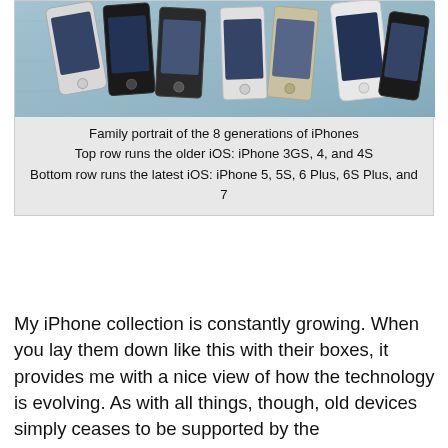[Figure (photo): Photo of 8 iPhones laid flat, arranged in two rows on a light blue fabric surface. Top row shows older iPhones (3GS, 4, 4S), bottom row shows newer iPhones (5, 5S, 6 Plus, 6S Plus, 7).]
Family portrait of the 8 generations of iPhones
Top row runs the older iOS: iPhone 3GS, 4, and 4S
Bottom row runs the latest iOS: iPhone 5, 5S, 6 Plus, 6S Plus, and 7
My iPhone collection is constantly growing. When you lay them down like this with their boxes, it provides me with a nice view of how the technology is evolving. As with all things, though, old devices simply ceases to be supported by the manufacturer. The three iPhones at the top no longer receive any major iOS version updates and are stuck in their time. The new member of this is the iPhone 4S, topping out at iOS 9.3.5. I expect iPhone 5 to join this group next year because, along with iPhone 5C, it is the last in the line of 32-bit iPhones and iOS 10 visually warns about an app that's not 64-bit.